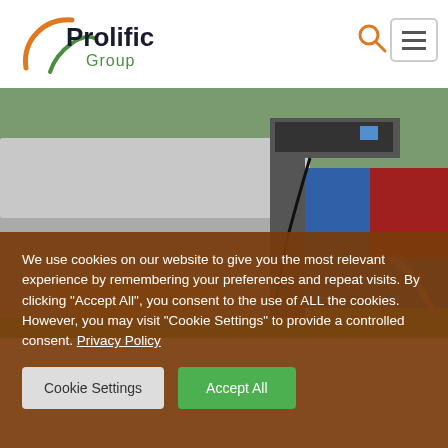[Figure (logo): Prolific Group logo with orange and green swoosh marks]
[Figure (photo): Industrial machinery on a green factory floor, showing a large metal conveyor/processing machine with blue equipment in the background]
We use cookies on our website to give you the most relevant experience by remembering your preferences and repeat visits. By clicking "Accept All", you consent to the use of ALL the cookies. However, you may visit "Cookie Settings" to provide a controlled consent. Privacy Policy
Cookie Settings
Accept All